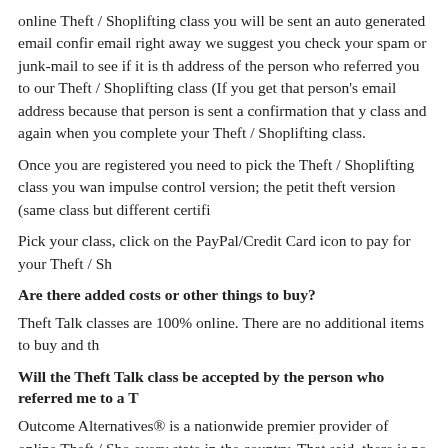online Theft / Shoplifting class you will be sent an auto generated email confir... email right away we suggest you check your spam or junk-mail to see if it is th... address of the person who referred you to our Theft / Shoplifting class (If you... get that person's email address because that person is sent a confirmation that y... class and again when you complete your Theft / Shoplifting class.
Once you are registered you need to pick the Theft / Shoplifting class you wan... impulse control version; the petit theft version (same class but different certifi...
Pick your class, click on the PayPal/Credit Card icon to pay for your Theft / Sh...
Are there added costs or other things to buy?
Theft Talk classes are 100% online. There are no additional items to buy and th...
Will the Theft Talk class be accepted by the person who referred me to a T...
Outcome Alternatives® is a nationwide premier provider of online Theft / Sho... every state in the country. That said, there is no national standard for Theft / Sh... officer or employer can accept a Theft / Shoplifting class or reject it. We do of... the details) if our online Theft / Shoplifting class is not accepted.
Can I really take my Theft / Shoplifting class anytime - day or night?
That's right! You can take your Theft / Shoplifting class anytime, day or nigh...